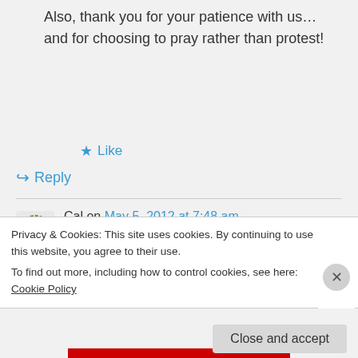Also, thank you for your patience with us… and for choosing to pray rather than protest!
★ Like
↪ Reply
Cal on May 5, 2012 at 7:48 am
👍 0 👎 0 ℹ Rate This
I appreciate the digging, my friend
Privacy & Cookies: This site uses cookies. By continuing to use this website, you agree to their use.
To find out more, including how to control cookies, see here: Cookie Policy
Close and accept